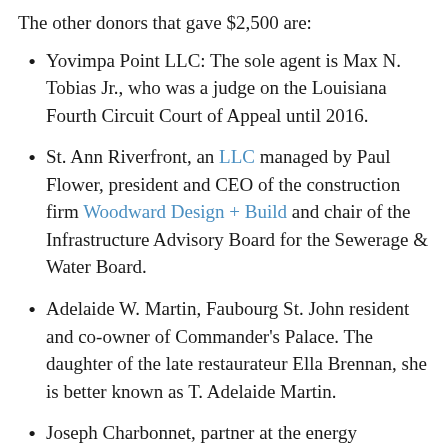The other donors that gave $2,500 are:
Yovimpa Point LLC: The sole agent is Max N. Tobias Jr., who was a judge on the Louisiana Fourth Circuit Court of Appeal until 2016.
St. Ann Riverfront, an LLC managed by Paul Flower, president and CEO of the construction firm Woodward Design + Build and chair of the Infrastructure Advisory Board for the Sewerage & Water Board.
Adelaide W. Martin, Faubourg St. John resident and co-owner of Commander's Palace. The daughter of the late restaurateur Ella Brennan, she is better known as T. Adelaide Martin.
Joseph Charbonnet, partner at the energy…